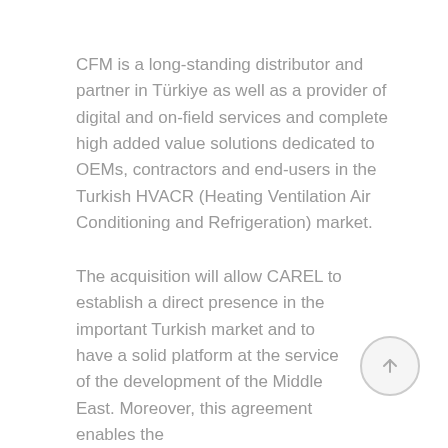CFM is a long-standing distributor and partner in Türkiye as well as a provider of digital and on-field services and complete high added value solutions dedicated to OEMs, contractors and end-users in the Turkish HVACR (Heating Ventilation Air Conditioning and Refrigeration) market.
The acquisition will allow CAREL to establish a direct presence in the important Turkish market and to have a solid platform at the service of the development of the Middle East. Moreover, this agreement enables the